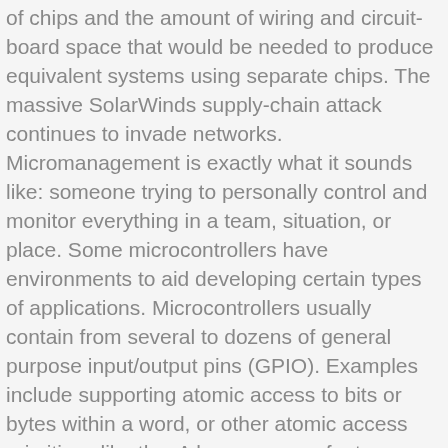of chips and the amount of wiring and circuit-board space that would be needed to produce equivalent systems using separate chips. The massive SolarWinds supply-chain attack continues to invade networks. Micromanagement is exactly what it sounds like: someone trying to personally control and monitor everything in a team, situation, or place. Some microcontrollers have environments to aid developing certain types of applications. Microcontrollers usually contain from several to dozens of general purpose input/output pins (GPIO). Examples include supporting atomic access to bits or bytes within a word, or other atomic access primitives like the. A less common feature on some microcontrollers is a digital-to-analog converter (DAC) that allows the processor to output analog signals or voltage levels. The ISA is roughly the same as the programming model of a processor as seen by an assembly language programmer or compiler writer. Micronutrients, often referred to as vitamins and minerals, are vital to healthy development, disease prevention, and wellbeing. Other supporting elements of a microcontroller include: A microcontroller's processor